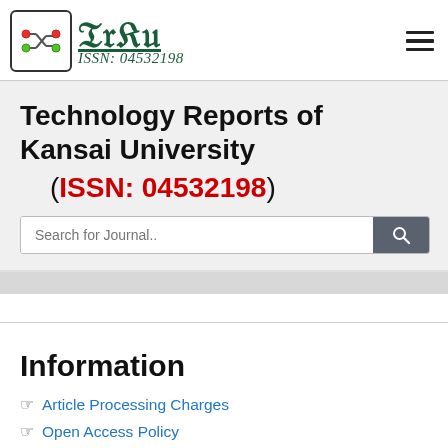TRKU | ISSN: 04532198
Technology Reports of Kansai University (ISSN: 04532198)
Information
Article Processing Charges
Open Access Policy
Terms and Conditions
Privacy Policy